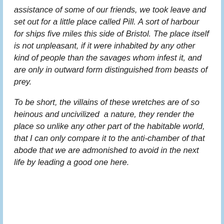assistance of some of our friends, we took leave and set out for a little place called Pill. A sort of harbour for ships five miles this side of Bristol. The place itself is not unpleasant, if it were inhabited by any other kind of people than the savages whom infest it, and are only in outward form distinguished from beasts of prey.
To be short, the villains of these wretches are of so heinous and uncivilized  a nature, they render the place so unlike any other part of the habitable world, that I can only compare it to the anti-chamber of that abode that we are admonished to avoid in the next life by leading a good one here.